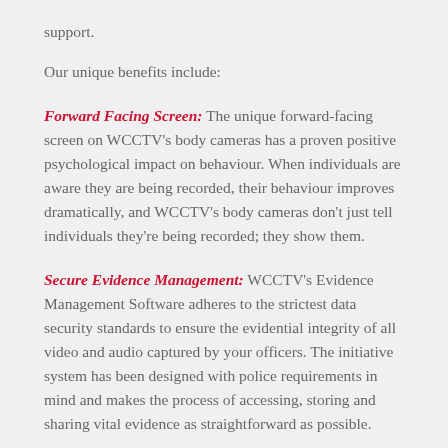support.
Our unique benefits include:
Forward Facing Screen: The unique forward-facing screen on WCCTV's body cameras has a proven positive psychological impact on behaviour. When individuals are aware they are being recorded, their behaviour improves dramatically, and WCCTV's body cameras don't just tell individuals they're being recorded; they show them.
Secure Evidence Management: WCCTV's Evidence Management Software adheres to the strictest data security standards to ensure the evidential integrity of all video and audio captured by your officers. The initiative system has been designed with police requirements in mind and makes the process of accessing, storing and sharing vital evidence as straightforward as possible.
Ease of Use: We have put user experience at the heart of our body camera's design. The cameras could not be easier to operate, with a simple one-button record/stop and an on-the-spot operational use of the continuing